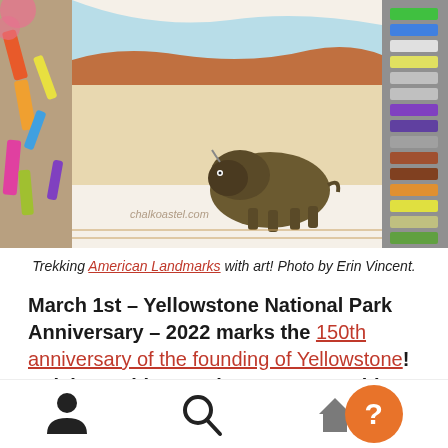[Figure (photo): Close-up photo of a chalk pastel drawing of a bison in a Yellowstone landscape, surrounded by colorful chalk pastels and a pastel set. Watermark reads chalkoastel.com]
Trekking American Landmarks with art! Photo by Erin Vincent.
March 1st – Yellowstone National Park Anniversary – 2022 marks the 150th anniversary of the founding of Yellowstone! Celebrate this American treasure with these art lessons in membership: